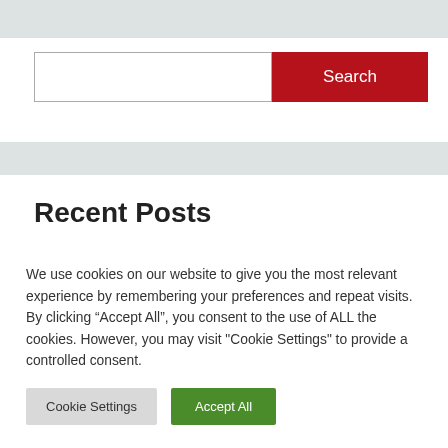[Figure (other): Search input box with red Search button]
Recent Posts
We use cookies on our website to give you the most relevant experience by remembering your preferences and repeat visits. By clicking “Accept All”, you consent to the use of ALL the cookies. However, you may visit "Cookie Settings" to provide a controlled consent.
Cookie Settings | Accept All